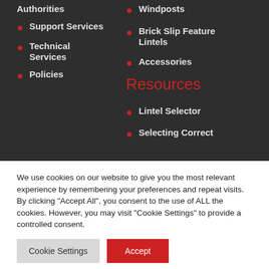Authorities
Support Services
Technical Services
Policies
Windposts
Brick Slip Feature Lintels
Accessories
Resources
Lintel Selector
Selecting Correct
We use cookies on our website to give you the most relevant experience by remembering your preferences and repeat visits. By clicking “Accept All”, you consent to the use of ALL the cookies. However, you may visit "Cookie Settings" to provide a controlled consent.